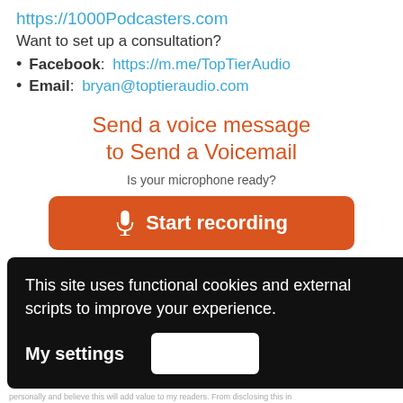https://1000Podcasters.com
Want to set up a consultation?
Facebook: https://m.me/TopTierAudio
Email: bryan@toptieraudio.com
Send a voice message to Send a Voicemail
Is your microphone ready?
[Figure (screenshot): Orange 'Start recording' button with microphone icon]
1 Record - 2 Listen - 3 Send
This site uses functional cookies and external scripts to improve your experience.
My settings
personally and believe this will add value to my readers. From disclosing this in